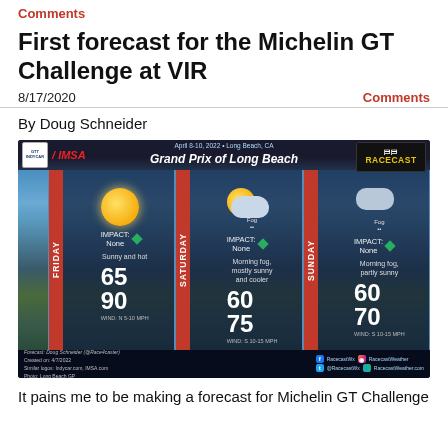Comments
First forecast for the Michelin GT Challenge at VIR
8/17/2020
Comments
By Doug Schneider
[Figure (infographic): Racecast weather forecast graphic for Grand Prix of Long Beach, April 8-10 2022, Long Beach CA. Shows three-day forecast: Friday - Sunny and hot, 65/90, Wind: N 5-10 MPH; Saturday - Morning fog, mostly sunny and cooler, 60/75, Wind: S 10-15 MPH; Sunday - Morning fog, partly sunny, 60/70, Wind: S 10-15 MPH. Features IMSA and Racecast logos. Aerial background photo of Long Beach.]
It pains me to be making a forecast for Michelin GT Challenge